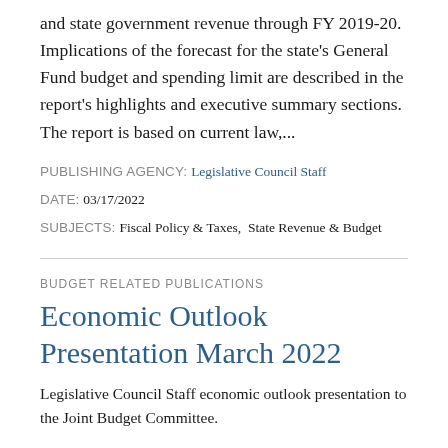and state government revenue through FY 2019-20. Implications of the forecast for the state's General Fund budget and spending limit are described in the report's highlights and executive summary sections. The report is based on current law,...
PUBLISHING AGENCY: Legislative Council Staff
DATE: 03/17/2022
SUBJECTS: Fiscal Policy & Taxes,  State Revenue & Budget
BUDGET RELATED PUBLICATIONS
Economic Outlook Presentation March 2022
Legislative Council Staff economic outlook presentation to the Joint Budget Committee.